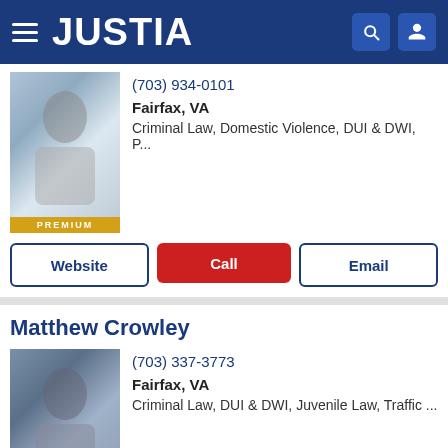JUSTIA
(703) 934-0101
Fairfax, VA
Criminal Law, Domestic Violence, DUI & DWI, P...
Website | Call | Email
Matthew Crowley
(703) 337-3773
Fairfax, VA
Criminal Law, DUI & DWI, Juvenile Law, Traffic ...
Website | Call | Email
Elena Iuga